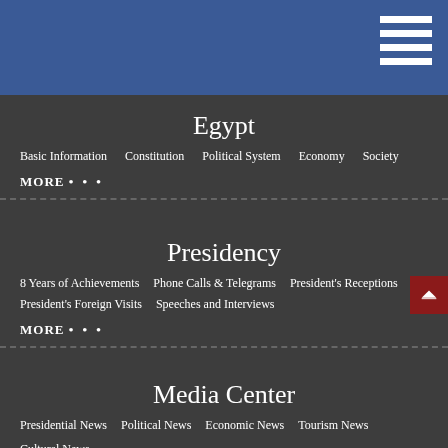Egypt - Navigation menu with hamburger icon
Egypt
Basic Information
Constitution
Political System
Economy
Society
MORE ...
Presidency
8 Years of Achievements
Phone Calls & Telegrams
President's Receptions
President's Foreign Visits
Speeches and Interviews
MORE ...
Media Center
Presidential News
Political News
Economic News
Tourism News
Cultural News
MORE ...